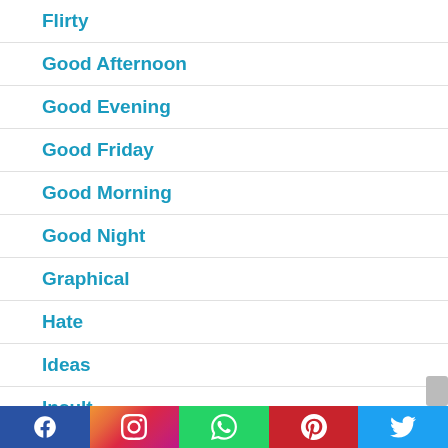Flirty
Good Afternoon
Good Evening
Good Friday
Good Morning
Good Night
Graphical
Hate
Ideas
Insult
[Figure (infographic): Social media sharing bar with icons for Facebook, Instagram, WhatsApp, Pinterest, and Twitter]